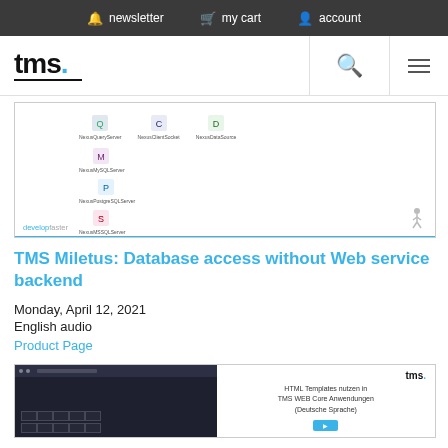newsletter   my cart   account
[Figure (logo): TMS logo with blue dot and underline]
[Figure (screenshot): Screenshot of TMS software showing database server icons including NexusQueryServer, NexusClientSocket, NexusDataSource, NexusMySQLServer, NexusPostgreSQLServer, NexusMSSQLServer, NexusMongoDBServer with develop faster label]
TMS Miletus: Database access without Web service backend
Monday, April 12, 2021
English audio
Product Page
[Figure (screenshot): Thumbnail showing TMS WEB Core dark IDE on left, and text 'HTML Templates nutzen in TMS WEB Core Anwendungen (Deutsche Sprache)' with tms logo on right]